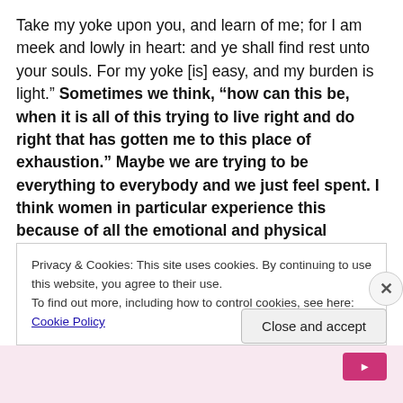Take my yoke upon you, and learn of me; for I am meek and lowly in heart: and ye shall find rest unto your souls. For my yoke [is] easy, and my burden is light.”  Sometimes we think, “how can this be, when it is all of this trying to live right and do right that has gotten me to this place of exhaustion.”  Maybe we are trying to be everything to everybody and we just feel spent.  I think women in particular experience this because of all the emotional and physical demands they carry with family, career, household and a social life.
Privacy & Cookies: This site uses cookies. By continuing to use this website, you agree to their use.
To find out more, including how to control cookies, see here: Cookie Policy
Close and accept